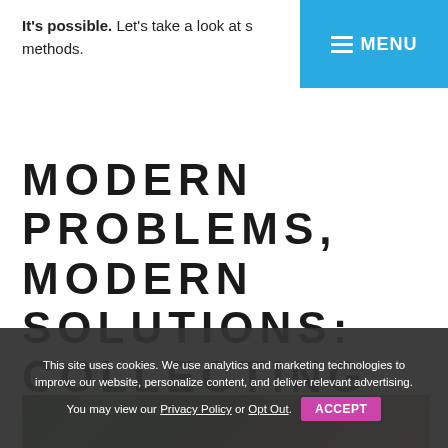MENU
It's possible. Let's take a look at s… methods.
MODERN PROBLEMS, MODERN SOLUTIONS: COLLECTING ZERO-PARTY DATA VIA SEAMLESS INTERACTIONS
[Figure (photo): A person standing outdoors in a field of tall green plants, with greenery and warm natural light.]
This site uses cookies. We use analytics and marketing technologies to improve our website, personalize content, and deliver relevant advertising. You may view our Privacy Policy or Opt Out. ACCEPT